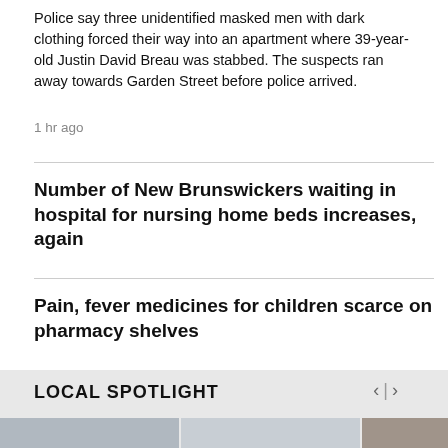Police say three unidentified masked men with dark clothing forced their way into an apartment where 39-year-old Justin David Breau was stabbed. The suspects ran away towards Garden Street before police arrived.
1 hr ago
Number of New Brunswickers waiting in hospital for nursing home beds increases, again
Pain, fever medicines for children scarce on pharmacy shelves
LOCAL SPOTLIGHT
[Figure (photo): Three partially visible thumbnail photos in a local spotlight carousel section]